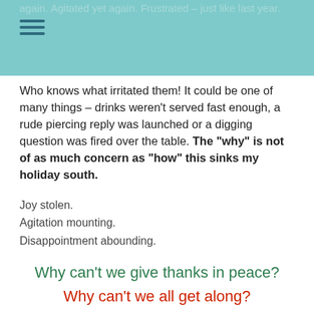again. Agitated yet again. Frustrated – just like last year.
Who knows what irritated them! It could be one of many things – drinks weren't served fast enough, a rude piercing reply was launched or a digging question was fired over the table. The "why" is not of as much concern as "how" this sinks my holiday south.
Joy stolen.
Agitation mounting.
Disappointment abounding.
Why can't we give thanks in peace?
Why can't we all get along?
Why does it feel that we have to endure holiday rather than enjoy it?